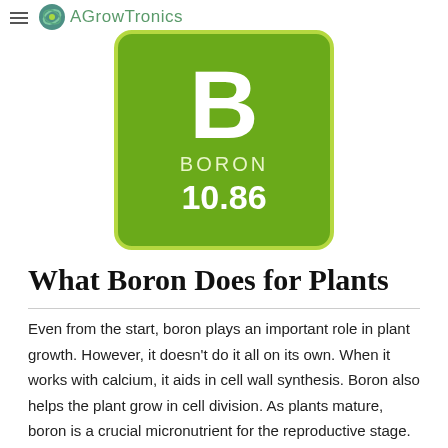AGrowTronics
[Figure (illustration): Periodic table element card for Boron. Dark green square with rounded corners and bright green border. Large white bold 'B' symbol, 'BORON' text, and atomic weight '10.86' displayed.]
What Boron Does for Plants
Even from the start, boron plays an important role in plant growth. However, it doesn't do it all on its own. When it works with calcium, it aids in cell wall synthesis. Boron also helps the plant grow in cell division. As plants mature, boron is a crucial micronutrient for the reproductive stage. In fact, it's part of